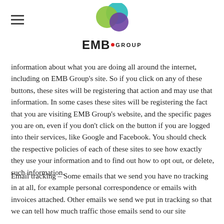[Figure (logo): EMB Group logo with overlapping colored circles (teal, lime green, purple, red dot) above the text 'EMB GROUP']
information about what you are doing all around the internet, including on EMB Group's site. So if you click on any of these buttons, these sites will be registering that action and may use that information. In some cases these sites will be registering the fact that you are visiting EMB Group's website, and the specific pages you are on, even if you don't click on the button if you are logged into their services, like Google and Facebook. You should check the respective policies of each of these sites to see how exactly they use your information and to find out how to opt out, or delete, such information.
Email tracking – Some emails that we send you have no tracking in at all, for example personal correspondence or emails with invoices attached. Other emails we send we put in tracking so that we can tell how much traffic those emails send to our site